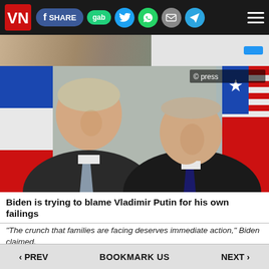VN | f SHARE | gab | Twitter | WhatsApp | Email | Telegram | Menu
[Figure (photo): Two men in suits standing close together, appearing to be Biden and Putin, with US and Russian flags in the background. Copyright press watermark in top right.]
© press
Biden is trying to blame Vladimir Putin for his own failings
"The crunch that families are facing deserves immediate action," Biden claimed.
‹ PREV   BOOKMARK US   NEXT ›